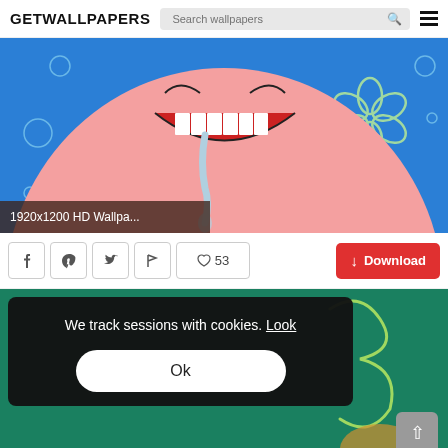GETWALLPAPERS — Search wallpapers
[Figure (screenshot): Cartoon Patrick Star from SpongeBob with mouth open and drool, on a blue background with bubbles and a flower outline. Label: 1920x1200 HD Wallpa...]
1920x1200 HD Wallpa...
♡ 53   Download
[Figure (screenshot): Second wallpaper preview partially visible at the bottom, showing cartoon characters on a teal/green background. Cookie consent overlay is shown on top.]
We track sessions with cookies. Look
Ok